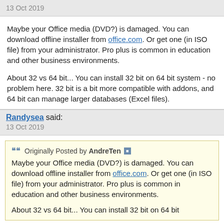13 Oct 2019
Maybe your Office media (DVD?) is damaged. You can download offline installer from office.com. Or get one (in ISO file) from your administrator. Pro plus is common in education and other business environments.
About 32 vs 64 bit... You can install 32 bit on 64 bit system - no problem here. 32 bit is a bit more compatible with addons, and 64 bit can manage larger databases (Excel files).
Randysea said: 13 Oct 2019
Originally Posted by AndreTen Maybe your Office media (DVD?) is damaged. You can download offline installer from office.com. Or get one (in ISO file) from your administrator. Pro plus is common in education and other business environments. About 32 vs 64 bit... You can install 32 bit on 64 bit